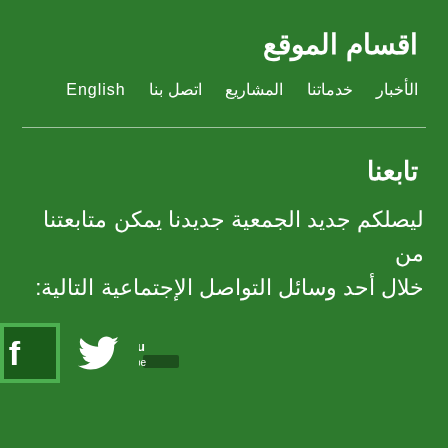اقسام الموقع
الأخبار  خدماتنا  المشاريع  اتصل بنا  English
تابعنا
ليصلكم جديد الجمعية جديدنا يمكن متابعتنا من خلال أحد وسائل التواصل الإجتماعية التالية:
[Figure (infographic): Social media icons: Facebook (dark green box with f icon), Twitter (bird icon), YouTube (You/Tube stacked icon)]